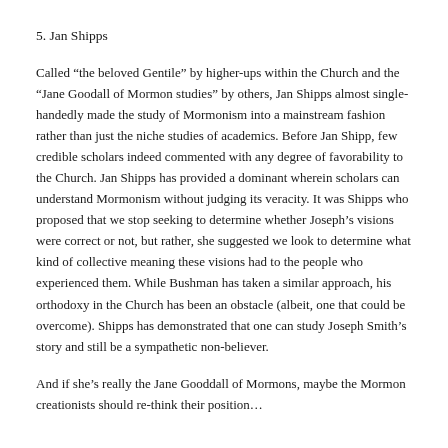5. Jan Shipps
Called “the beloved Gentile” by higher-ups within the Church and the “Jane Goodall of Mormon studies” by others, Jan Shipps almost single-handedly made the study of Mormonism into a mainstream fashion rather than just the niche studies of academics. Before Jan Shipp, few credible scholars indeed commented with any degree of favorability to the Church. Jan Shipps has provided a dominant wherein scholars can understand Mormonism without judging its veracity. It was Shipps who proposed that we stop seeking to determine whether Joseph’s visions were correct or not, but rather, she suggested we look to determine what kind of collective meaning these visions had to the people who experienced them. While Bushman has taken a similar approach, his orthodoxy in the Church has been an obstacle (albeit, one that could be overcome). Shipps has demonstrated that one can study Joseph Smith’s story and still be a sympathetic non-believer.
And if she’s really the Jane Gooddall of Mormons, maybe the Mormon creationists should re-think their position…